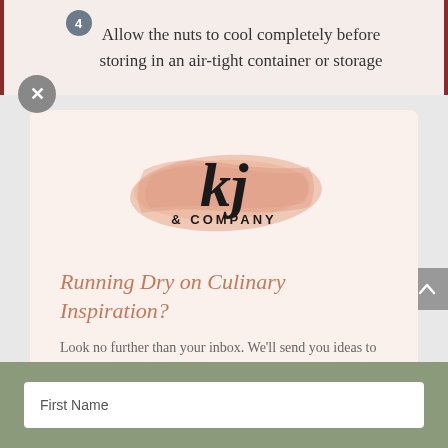4 Allow the nuts to cool completely before storing in an air-tight container or storage
[Figure (logo): kj & COMPANY logo with script lettering on a peach/salmon brushstroke background]
Running Dry on Culinary Inspiration?
Look no further than your inbox. We'll send you ideas to help you put delicious meals on your table. Or dessert in bed. No judgment either way.
First Name